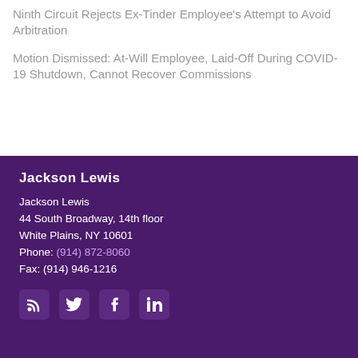Ninth Circuit Rejects Ex-Tinder Employee's Attempt to Avoid Arbitration
Motion Dismissed: At-Will Employee, Laid-Off During COVID-19 Shutdown, Cannot Recover Commissions
Jackson Lewis
Jackson Lewis
44 South Broadway, 14th floor
White Plains, NY 10601
Phone: (914) 872-8060
Fax: (914) 946-1216
[Figure (infographic): Social media icons: RSS feed, Twitter, Facebook, LinkedIn]